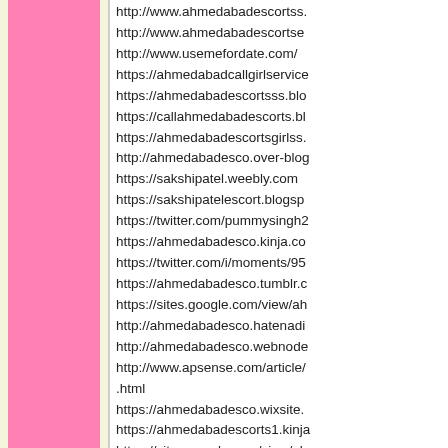http://www.ahmedabadescortss...
http://www.ahmedabadescortse...
http://www.usemefordate.com/
https://ahmedabadcallgirlservice...
https://ahmedabadescortsss.blo...
https://callahmedabadescorts.bl...
https://ahmedabadescortsgirlss....
http://ahmedabadesco.over-blog...
https://sakshipatel.weebly.com
https://sakshipatelescort.blogsp...
https://twitter.com/pummysingh2...
https://ahmedabadesco.kinja.co...
https://twitter.com/i/moments/95...
https://ahmedabadesco.tumblr.c...
https://sites.google.com/view/ah...
http://ahmedabadesco.hatenadi...
http://ahmedabadesco.webnode...
http://www.apsense.com/article/...
.html
https://ahmedabadesco.wixsite....
https://ahmedabadescorts1.kinja...
https://sites.google.com/view/ah...
https://pummysingh.doodlekit.co...
http://ahmedabadesco.hatenab...
440  04.09.2019 - 08:30 Uhr
Welcome to individuals I am Nis... Escort young lady in Delhi Esco... Delhi Escort I show free... http://d...